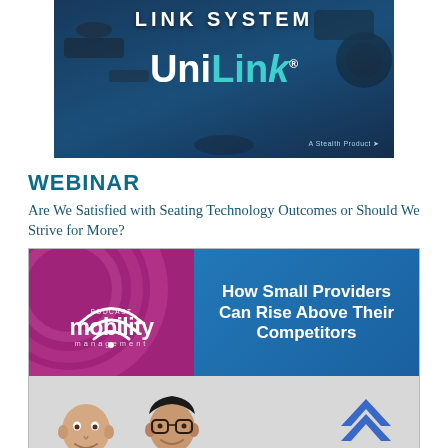[Figure (illustration): UniLink product advertisement banner with dark blue background showing camera accessories and the UniLink logo in white and teal text, with 'LINK SYSTEM' text at top and 'A Stealth Product' tagline at bottom right]
WEBINAR
Are We Satisfied with Seating Technology Outcomes or Should We Strive for More?
[Figure (illustration): Podcast Mobility Management advertisement banner. Top half: left side has purple/magenta background with circular arc design and 'PODCAST mobility management' branding; right side has blue background with white bold text 'How Small Providers Can Rise Above Their Competitors'. Bottom half: light gray background showing two men smiling (one bald, one with glasses) and the WHILL logo (blue chevron/arrow shape with WHILL text).]